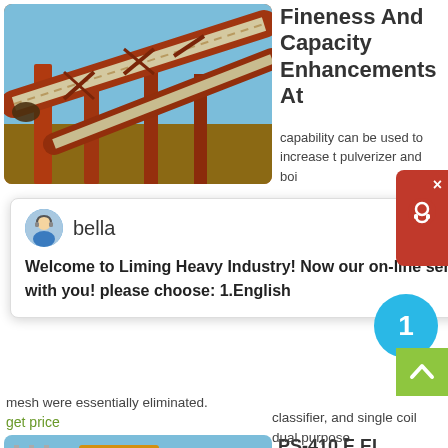[Figure (photo): Industrial conveyor belt system on orange steel framework at a mining or quarry site, blue sky background.]
Fineness And Capacity Enhancements At
capability can be used to increase t pulverizer and boi
mesh were essentially eliminated.
get price
[Figure (photo): Large yellow and orange jaw crusher machine on construction scaffolding site.]
PS-410 E EL Pulverizer Modifications For Optimum
classifier, and single coil dual purpose